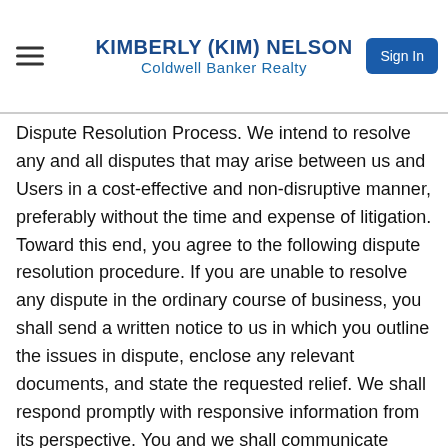KIMBERLY (KIM) NELSON
Coldwell Banker Realty
Dispute Resolution Process. We intend to resolve any and all disputes that may arise between us and Users in a cost-effective and non-disruptive manner, preferably without the time and expense of litigation. Toward this end, you agree to the following dispute resolution procedure. If you are unable to resolve any dispute in the ordinary course of business, you shall send a written notice to us in which you outline the issues in dispute, enclose any relevant documents, and state the requested relief. We shall respond promptly with responsive information from its perspective. You and we shall communicate promptly following the delivery of the response, and as often as you and we mutually deem necessary or desirable thereafter, in an attempt to resolve the matter. 19.2 Class Action Waiver. You and we agree that any proceedings to resolve or litigate any dispute, whether through a court of law or alternative dispute resolution, shall be solely conducted on an individual basis. You agree that you will not seek